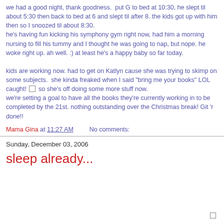we had a good night, thank goodness.  put G to bed at 10:30, he slept til about 5:30 then back to bed at 6 and slept til after 8. the kids got up with him then so I snoozed til about 8:30.
he's having fun kicking his symphony gym right now, had him a morning nursing to fill his tummy and I thought he was going to nap, but nope. he woke right up. ah well. :) at least he's a happy baby so far today.

kids are working now. had to get on Katlyn cause she was trying to skimp on some subjects.  she kinda freaked when I said "bring me your books" LOL caught! [checkbox] so she's off doing some more stuff now.
we're setting a goal to have all the books they're currently working in to be completed by the 21st. nothing outstanding over the Christmas break! Git 'r done!!
Mama Gina at 11:27 AM   No comments:
Sunday, December 03, 2006
sleep already...
[Figure (other): small checkbox icon at bottom right]